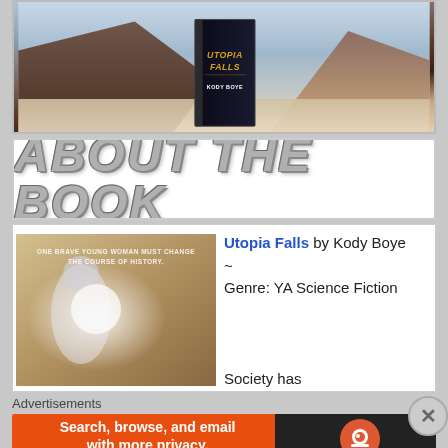[Figure (photo): Book cover for 'Utopia Falls' by Kody Boye, showing a 3D book standing upright against a dramatic mountain/desert landscape background]
[Figure (illustration): Styled banner image with bold italic text reading 'ABOUT THE BOOK' in large gray 3D embossed lettering on white background]
[Figure (photo): Book cover image of Utopia Falls showing a girl with white hair reaching toward light, with tagline 'ONE BRAVE YOUNG WOMAN MUST CHANGE THE COURSE OF HISTORY.']
Utopia Falls by Kody Boye ~ Genre: YA Science Fiction
Society has
Advertisements
[Figure (screenshot): DuckDuckGo advertisement banner: orange left side with text 'Search, browse, and email with more privacy. All in One Free App' and dark right side with DuckDuckGo logo]